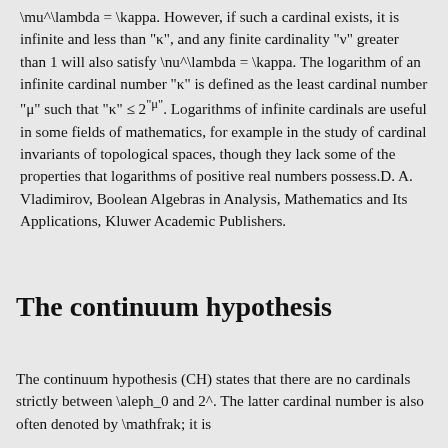\mu^\lambda = \kappa. However, if such a cardinal exists, it is infinite and less than "κ", and any finite cardinality "ν" greater than 1 will also satisfy \nu^\lambda = \kappa. The logarithm of an infinite cardinal number "κ" is defined as the least cardinal number "μ" such that "κ" ≤ 2"μ". Logarithms of infinite cardinals are useful in some fields of mathematics, for example in the study of cardinal invariants of topological spaces, though they lack some of the properties that logarithms of positive real numbers possess.D. A. Vladimirov, Boolean Algebras in Analysis, Mathematics and Its Applications, Kluwer Academic Publishers.
The continuum hypothesis
The continuum hypothesis (CH) states that there are no cardinals strictly between \aleph_0 and 2^. The latter cardinal number is also often denoted by \mathfrak; it is